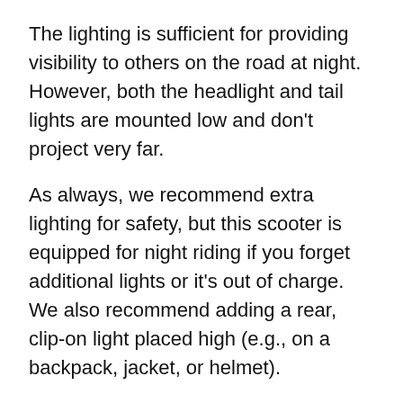The lighting is sufficient for providing visibility to others on the road at night. However, both the headlight and tail lights are mounted low and don't project very far.
As always, we recommend extra lighting for safety, but this scooter is equipped for night riding if you forget additional lights or it's out of charge. We also recommend adding a rear, clip-on light placed high (e.g., on a backpack, jacket, or helmet).
Read more about riding safely at night.
Tires